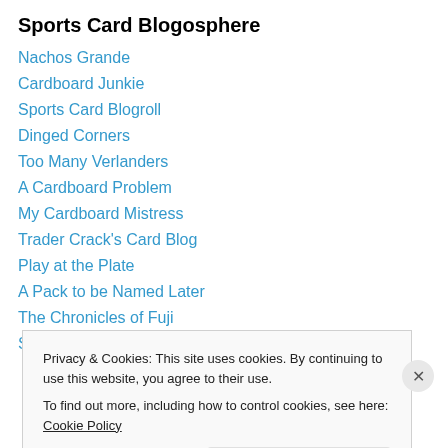Sports Card Blogosphere
Nachos Grande
Cardboard Junkie
Sports Card Blogroll
Dinged Corners
Too Many Verlanders
A Cardboard Problem
My Cardboard Mistress
Trader Crack's Card Blog
Play at the Plate
A Pack to be Named Later
The Chronicles of Fuji
Shot Not Taken
Privacy & Cookies: This site uses cookies. By continuing to use this website, you agree to their use.
To find out more, including how to control cookies, see here: Cookie Policy
Close and accept